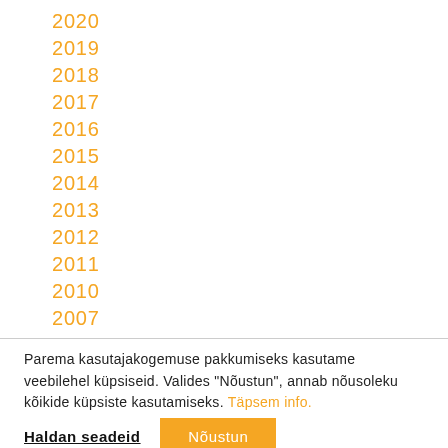2020
2019
2018
2017
2016
2015
2014
2013
2012
2011
2010
2007
Parema kasutajakogemuse pakkumiseks kasutame veebilehel küpsiseid. Valides "Nõustun", annab nõusoleku kõikide küpsiste kasutamiseks. Täpsem info.
Haldan seadeid   Nõustun